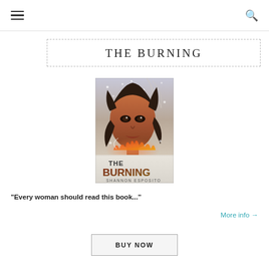≡  🔍
THE BURNING
[Figure (illustration): Book cover of 'The Burning' by Shannon Esposito. Shows a woman's face with dramatic lighting and fire/snow elements. Bold text reads 'THE BURNING' and 'SHANNON ESPOSITO' at the bottom.]
"Every woman should read this book..."
More info →
BUY NOW